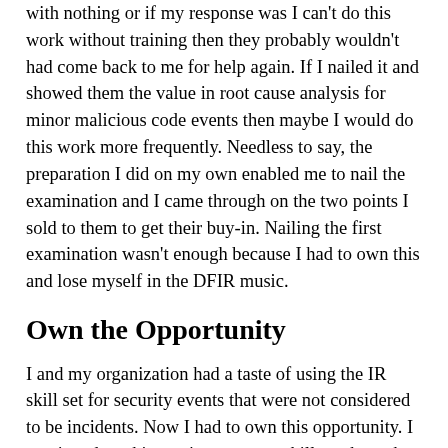with nothing or if my response was I can't do this work without training then they probably wouldn't had come back to me for help again. If I nailed it and showed them the value in root cause analysis for minor malicious code events then maybe I would do this work more frequently. Needless to say, the preparation I did on my own enabled me to nail the examination and I came through on the two points I sold to them to get their buy-in. Nailing the first examination wasn't enough because I had to own this and lose myself in the DFIR music.
Own the Opportunity
I and my organization had a taste of using the IR skill set for security events that were not considered to be incidents. Now I had to own this opportunity. I continued working to improve my skill set through compromising test systems and helping anyone who asked. I continued buying and reading DFIR books as well as blogs, papers, articles, etc.. I continued to hone my process to make it faster. I sacrificed my free personal time to live and breathe DFIR. The request for malicious code assistances kept coming in and each time